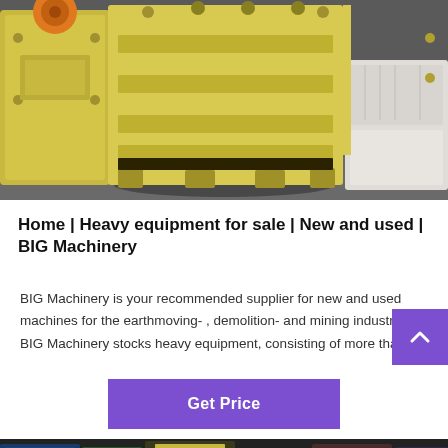[Figure (photo): Industrial yellow jaw crusher or heavy machinery part on a concrete factory floor, with large metal components and white bulk bags visible in the background.]
Home | Heavy equipment for sale | New and used | BIG Machinery
BIG Machinery is your recommended supplier for new and used machines for the earthmoving- , demolition- and mining industry. BIG Machinery stocks heavy equipment, consisting of more tha...
Get Price
[Figure (photo): Partial view of another piece of heavy machinery at the bottom of the page.]